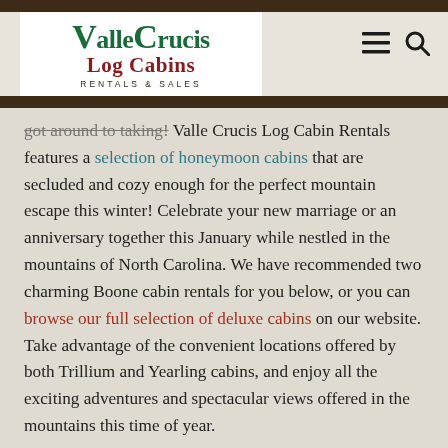[Figure (logo): Valle Crucis Log Cabins Rentals & Sales logo — green stylized text 'ValleCrucis', red bold 'Log Cabins', spaced-letter 'RENTALS & SALES' below, on white background]
got around to taking! Valle Crucis Log Cabin Rentals features a selection of honeymoon cabins that are secluded and cozy enough for the perfect mountain escape this winter! Celebrate your new marriage or an anniversary together this January while nestled in the mountains of North Carolina. We have recommended two charming Boone cabin rentals for you below, or you can browse our full selection of deluxe cabins on our website. Take advantage of the convenient locations offered by both Trillium and Yearling cabins, and enjoy all the exciting adventures and spectacular views offered in the mountains this time of year.